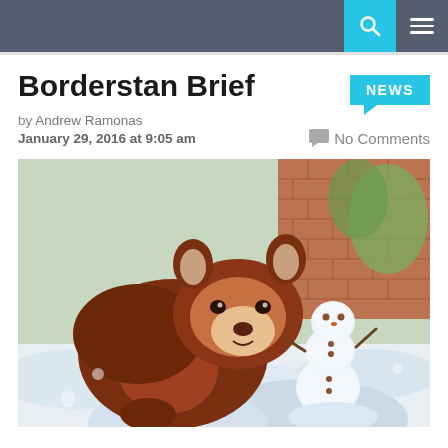Borderstan Brief — navigation bar with search and menu icons
Borderstan Brief
NEWS
by Andrew Ramonas
January 29, 2016 at 9:05 am
No Comments
[Figure (photo): A red panda standing in snow next to a small handmade snowman with berry eyes, with bamboo and brick wall in the background.]